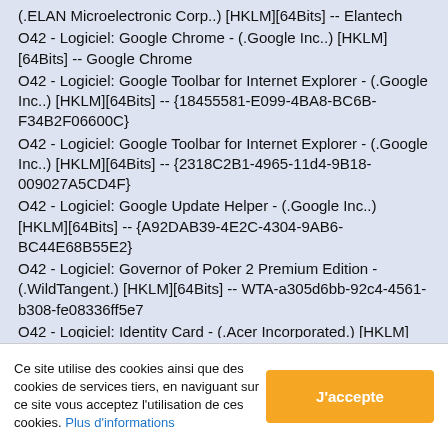(.ELAN Microelectronic Corp..) [HKLM][64Bits] -- Elantech
O42 - Logiciel: Google Chrome - (.Google Inc..) [HKLM][64Bits] -- Google Chrome
O42 - Logiciel: Google Toolbar for Internet Explorer - (.Google Inc..) [HKLM][64Bits] -- {18455581-E099-4BA8-BC6B-F34B2F06600C}
O42 - Logiciel: Google Toolbar for Internet Explorer - (.Google Inc..) [HKLM][64Bits] -- {2318C2B1-4965-11d4-9B18-009027A5CD4F}
O42 - Logiciel: Google Update Helper - (.Google Inc..) [HKLM][64Bits] -- {A92DAB39-4E2C-4304-9AB6-BC44E68B55E2}
O42 - Logiciel: Governor of Poker 2 Premium Edition - (.WildTangent.) [HKLM][64Bits] -- WTA-a305d6bb-92c4-4561-b308-fe08336ff5e7
O42 - Logiciel: Identity Card - (.Acer Incorporated.) [HKLM][64Bits] -- {3D9CB654-99AD-4301-89C6-0D12A790767C}
O42 - Logiciel: Intel(R) Management Engine Components - (.Intel Corporation.) [HKLM][64Bits] -- {65153EA5-8B6E-43B6-857B-C6E4FC25798A}
O42 - Logiciel: Intel(R) Processor Graphics - (.Intel
Ce site utilise des cookies ainsi que des cookies de services tiers, en naviguant sur ce site vous acceptez l'utilisation de ces cookies. Plus d'informations
J'accepte